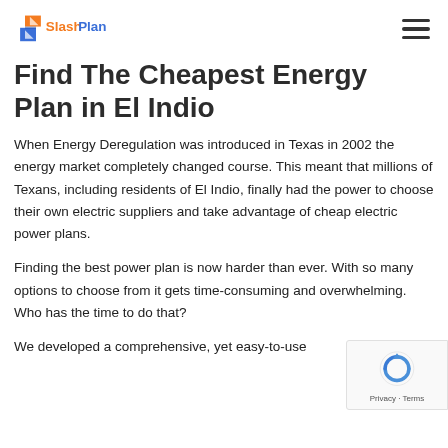SlashPlan [logo + hamburger menu]
Find The Cheapest Energy Plan in El Indio
When Energy Deregulation was introduced in Texas in 2002 the energy market completely changed course. This meant that millions of Texans, including residents of El Indio, finally had the power to choose their own electric suppliers and take advantage of cheap electric power plans.
Finding the best power plan is now harder than ever. With so many options to choose from it gets time-consuming and overwhelming. Who has the time to do that?
We developed a comprehensive, yet easy-to-use